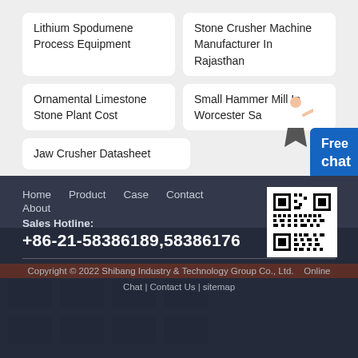Lithium Spodumene Process Equipment
Stone Crusher Machine Manufacturer In Rajasthan
Ornamental Limestone Stone Plant Cost
Small Hammer Mill In Worcester Sa
Jaw Crusher Datasheet
Free chat
Home   Product   Case   Contact   About
[Figure (other): QR code for Shibang Industry & Technology Group website]
Sales Hotline:
+86-21-58386189,58386176
Copyright © 2022 Shibang Industry & Technology Group Co., Ltd.   Online Chat | Contact Us | sitemap